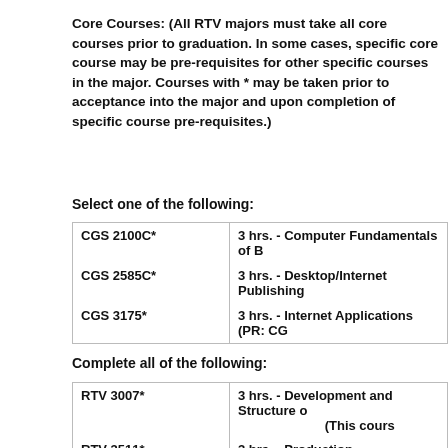Core Courses:  (All RTV majors must take all core courses prior to graduation.  In some cases, specific core course may be pre-requisites for other specific courses in the major.  Courses with * may be taken prior to acceptance into the major and upon completion of specific course pre-requisites.)
Select one of the following:
| CGS 2100C* | 3 hrs. - Computer Fundamentals of B |
| CGS 2585C* | 3 hrs. - Desktop/Internet Publishing |
| CGS 3175* | 3 hrs. - Internet Applications (PR:  CG |
Complete all of the following:
| RTV 3007* | 3 hrs. - Development and Structure o
(This cours |
| RTV 3511* | 3 hrs. - Production Fundamentals an |
| RTV 4403* | 3 hrs. - Electronic Media, Technology |
| MMC 3200* | 3 hrs. - Mass Communication Law (PR: |
| RTV 3100 | 3 hrs. - Writing for the Electronic M |